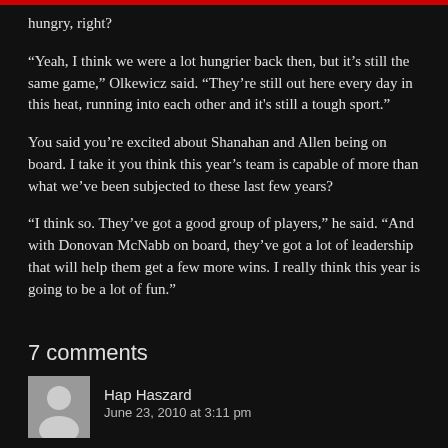hungry, right?
“Yeah, I think we were a lot hungrier back then, but it’s still the same game,” Olkewicz said. “They’re still out here every day in this heat, running into each other and it’s still a tough sport.”
You said you’re excited about Shanahan and Allen being on board. I take it you think this year’s team is capable of more than what we’ve been subjected to these last few years?
“I think so. They’ve got a good group of players,” he said. “And with Donovan McNabb on board, they’ve got a lot of leadership that will help them get a few more wins. I really think this year is going to be a lot of fun.”
7 comments
Hap Haszard
June 23, 2010 at 3:11 pm